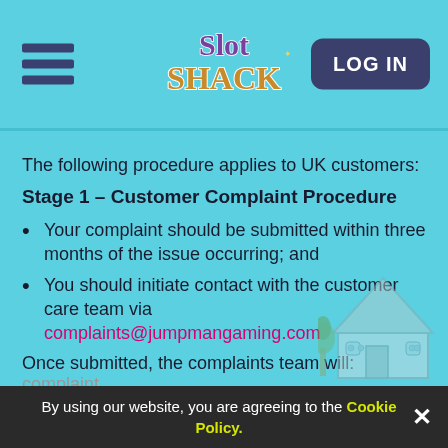Slot Shack — LOG IN
The following procedure applies to UK customers:
Stage 1 – Customer Complaint Procedure
Your complaint should be submitted within three months of the issue occurring; and
You should initiate contact with the customer care team via complaints@jumpmangaming.com
Once submitted, the complaints team will:
acknowledge receipt of your complaint within 48 hours.
request from you any further information required to assist in the investigation of your complaint.
Conduct an investigation into your complaint.
By using our website, you are agreeing to the Cookie Policy.